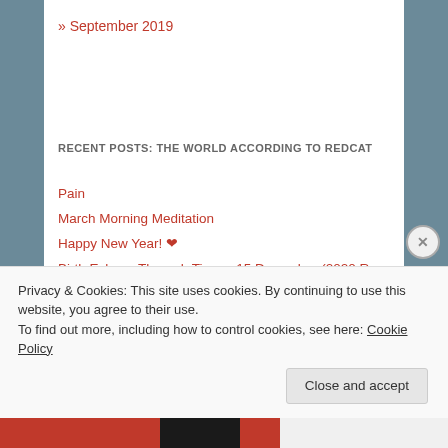» September 2019
RECENT POSTS: THE WORLD ACCORDING TO REDCAT
Pain
March Morning Meditation
Happy New Year! ♥
Birth Echoes Through Time – 15 December (2020 Re-post)
Time Is Running Out – A Haibun, 14 December
Privacy & Cookies: This site uses cookies. By continuing to use this website, you agree to their use.
To find out more, including how to control cookies, see here: Cookie Policy
Close and accept